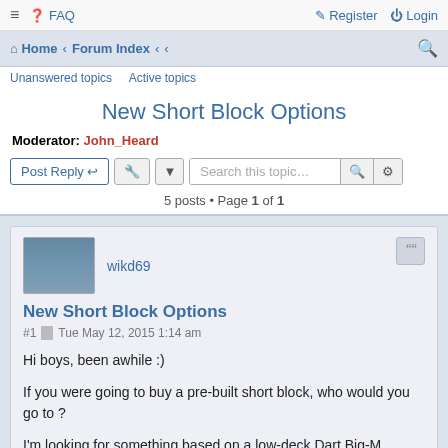≡  FAQ    Register  Login
Home › Forum Index › ‹ ‹
Unanswered topics   Active topics
New Short Block Options
Moderator: John_Heard
5 posts • Page 1 of 1
wikd69
New Short Block Options
#1  Tue May 12, 2015 1:14 am
Hi boys, been awhile :)
If you were going to buy a pre-built short block, who would you go to ?
I'm looking for something based on a low-deck Dart Big-M, Callies Dragonslayer, in either 509 or 540 cu in.
I know there are lots of builders out there, but without having to spend a